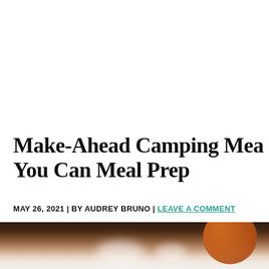Make-Ahead Camping Meals You Can Meal Prep
MAY 26, 2021 | BY AUDREY BRUNO | LEAVE A COMMENT
[Figure (photo): Blurred close-up photo of camping cookware/food items, partially visible at bottom of page]